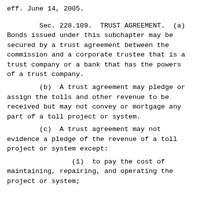eff. June 14, 2005.
Sec. 228.109. TRUST AGREEMENT. (a) Bonds issued under this subchapter may be secured by a trust agreement between the commission and a corporate trustee that is a trust company or a bank that has the powers of a trust company.
(b) A trust agreement may pledge or assign the tolls and other revenue to be received but may not convey or mortgage any part of a toll project or system.
(c) A trust agreement may not evidence a pledge of the revenue of a toll project or system except:
(1) to pay the cost of maintaining, repairing, and operating the project or system;